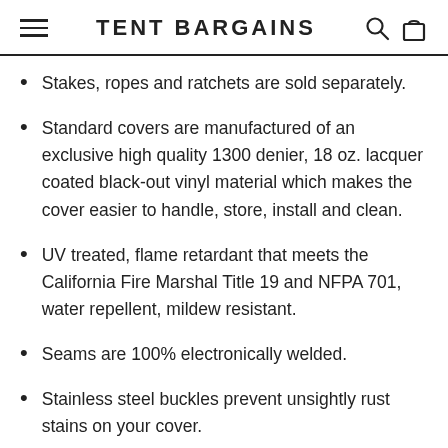TENT BARGAINS
Stakes, ropes and ratchets are sold separately.
Standard covers are manufactured of an exclusive high quality 1300 denier, 18 oz. lacquer coated black-out vinyl material which makes the cover easier to handle, store, install and clean.
UV treated, flame retardant that meets the California Fire Marshal Title 19 and NFPA 701, water repellent, mildew resistant.
Seams are 100% electronically welded.
Stainless steel buckles prevent unsightly rust stains on your cover.
Double reinforced straps and buckles.